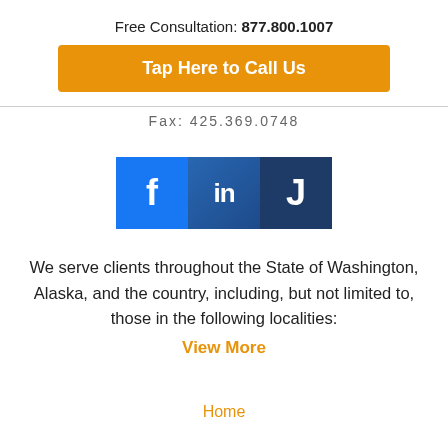Free Consultation: 877.800.1007
Tap Here to Call Us
Fax: 425.369.0748
[Figure (logo): Social media icons: Facebook (f), LinkedIn (in), Justia (J)]
We serve clients throughout the State of Washington, Alaska, and the country, including, but not limited to, those in the following localities: View More
Home